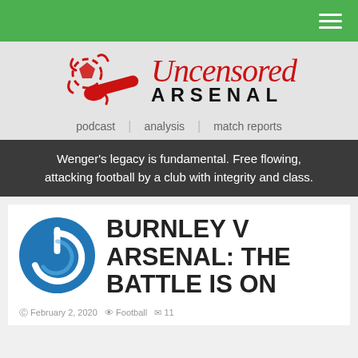Uncensored Arsenal — navigation bar with hamburger menu
[Figure (logo): Uncensored Arsenal logo with stylized red football/cannon graphic and red italic 'Uncensored' text with bold 'ARSENAL' below]
podcast | analysis | match reports
Wenger's legacy is fundamental. Free flowing, attacking football by a club with integrity and class.
BURNLEY V ARSENAL: THE BATTLE IS ON
February 2, 2020  Football  11